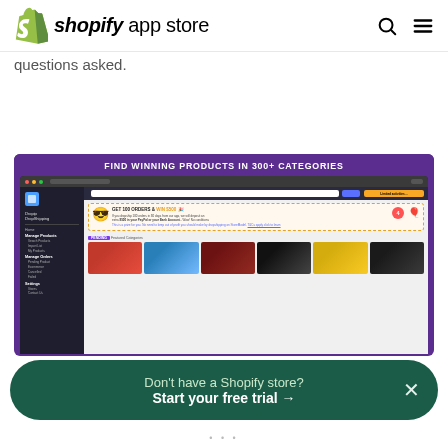shopify app store
questions asked.
[Figure (screenshot): Shopify App Store screenshot showing Dropipng app with 'FIND WINNING PRODUCTS IN 300+ CATEGORIES' banner and a browser window displaying the app interface with a promotional banner 'GET 100 ORDERS & WIN $500' and product category thumbnails]
Don't have a Shopify store? Start your free trial →
• • •